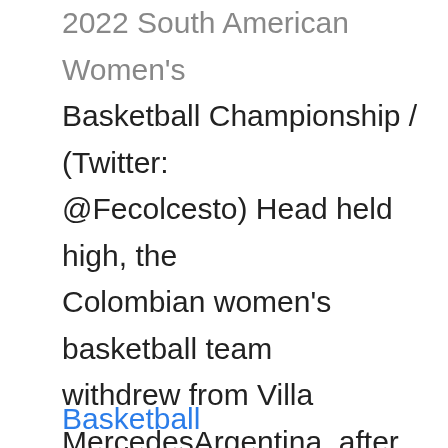2022 South American Women's Basketball Championship / (Twitter: @Fecolcesto) Head held high, the Colombian women's basketball team withdrew from Villa MercedesArgentina, after winning bronze in the South American Championship organized by FIBA and qualifying for the Women's AmeriCup 2023, the equivalent of the Copa América in this discipline. … Read more
Basketball